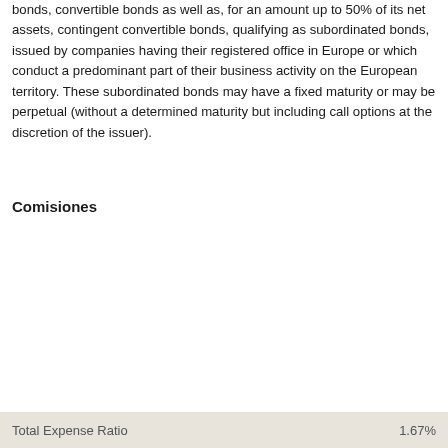bonds, convertible bonds as well as, for an amount up to 50% of its net assets, contingent convertible bonds, qualifying as subordinated bonds, issued by companies having their registered office in Europe or which conduct a predominant part of their business activity on the European territory. These subordinated bonds may have a fixed maturity or may be perpetual (without a determined maturity but including call options at the discretion of the issuer).
Comisiones
|  |  |
| --- | --- |
| Front Load | 3.00% |
| Management Fee | 1.20% |
| On Going Charge | 1.58% |
| Redemption Fee | 1.00% |
| Total Expense Ratio | 1.67% |